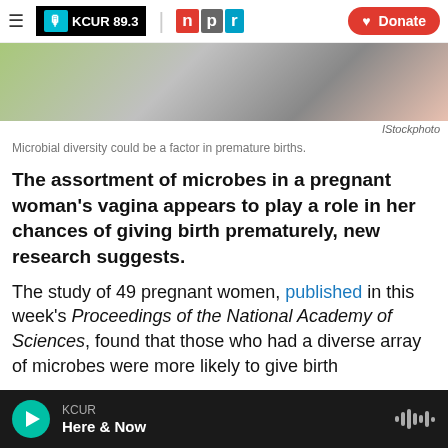≡  KCUR 89.3  |  npr  ♥ Donate
[Figure (photo): Cropped image showing a pregnant woman's torso outdoors with green foliage in background]
IStockphoto
Microbial diversity could be a factor in premature births.
The assortment of microbes in a pregnant woman's vagina appears to play a role in her chances of giving birth prematurely, new research suggests.
The study of 49 pregnant women, published in this week's Proceedings of the National Academy of Sciences, found that those who had a diverse array of microbes were more likely to give birth
KCUR  Here & Now  ▶